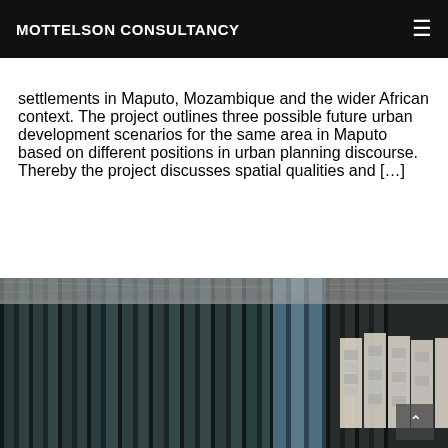MOTTELSON CONSULTANCY
settlements in Maputo, Mozambique and the wider African context. The project outlines three possible future urban development scenarios for the same area in Maputo based on different positions in urban planning discourse. Thereby the project discusses spatial qualities and […]
[Figure (photo): Interior photograph of an exhibition or warehouse space with corrugated metal/iron sheet walls, ceiling with visible structure, and exhibition panels/posters mounted on the right side. A scroll-to-top button is visible in the bottom right corner.]